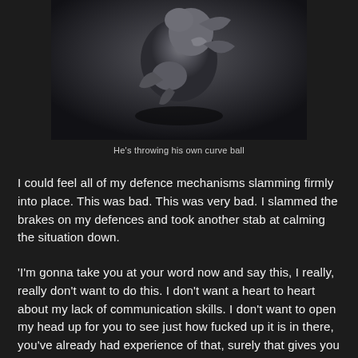[Figure (photo): Dark artistic photograph of a human figure in a curled/contorted pose against a dark grey background, black and white/desaturated tones]
He's throwing his own curve ball
I could feel all of my defence mechanisms slamming firmly into place. This was bad. This was very bad. I slammed the brakes on my defences and took another stab at calming the situation down.
'I'm gonna take you at your word now and say this, I really, really don't want to do this. I don't want a heart to heart about my lack of communication skills. I don't want to open my head up for you to see just how fucked up it is in there, you've already had experience of that, surely that gives you some clue as to why I am